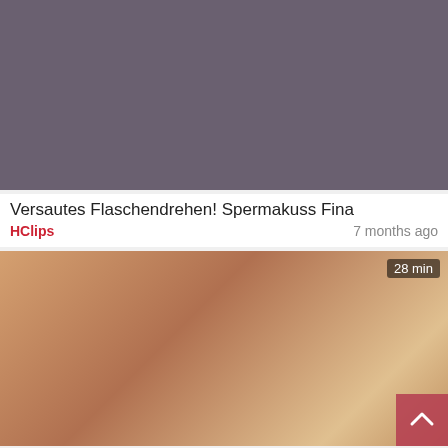[Figure (photo): Video thumbnail showing two blonde women, pornographic content]
Versautes Flaschendrehen! Spermakuss Fina
HClips   7 months ago
[Figure (photo): Video thumbnail with duration badge '28 min', pornographic content featuring redhead woman]
Pull Out Game Weak - Molly Manson
PornHits  ★ Logan Pierce  ★ Molly Manson  1 year ago
[Figure (photo): Partial video thumbnail with duration badge '7 min']